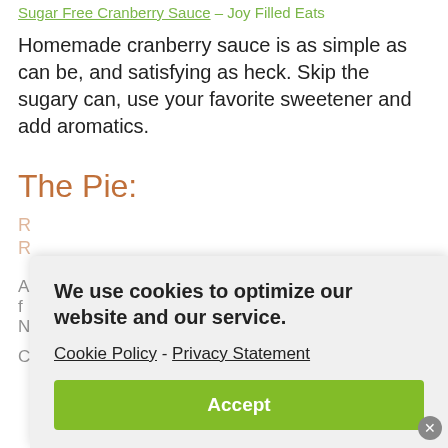Sugar Free Cranberry Sauce – Joy Filled Eats
Homemade cranberry sauce is as simple as can be, and satisfying as heck. Skip the sugary can, use your favorite sweetener and add aromatics.
The Pie:
We use cookies to optimize our website and our service.

Cookie Policy - Privacy Statement

Accept